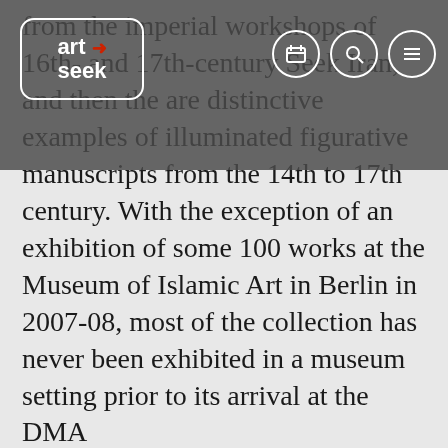art seek [logo with navigation icons]
from the imperial workshops of 16th- and 17th-century Seek Iran, and then the are distinctive examples of illuminated figurative manuscripts from the 14th to 17th century. With the exception of an exhibition of some 100 works at the Museum of Islamic Art in Berlin in 2007-08, most of the collection has never been exhibited in a museum setting prior to its arrival at the DMA
“With distinctive strengths across nearly every major period of Islamic cultural production, the Keir Collection is one of the most important collections of Islamic art ever assembled,” said Sabiha Al Khemir. “We are thrilled by the